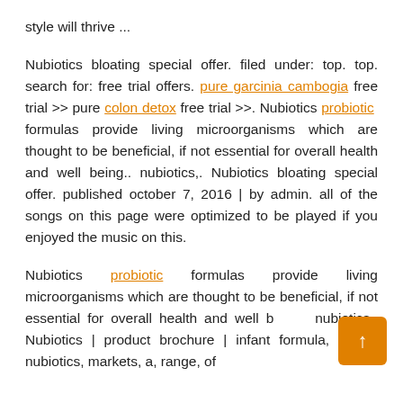style will thrive ...
Nubiotics bloating special offer. filed under: top. top. search for: free trial offers. pure garcinia cambogia free trial >> pure colon detox free trial >>. Nubiotics probiotic formulas provide living microorganisms which are thought to be beneficial, if not essential for overall health and well being.. nubiotics,. Nubiotics bloating special offer. published october 7, 2016 | by admin. all of the songs on this page were optimized to be played if you enjoyed the music on this.
Nubiotics probiotic formulas provide living microorganisms which are thought to be beneficial, if not essential for overall health and well b... nubiotics,. Nubiotics | product brochure | infant formula, range, nubiotics, markets, a, range, of